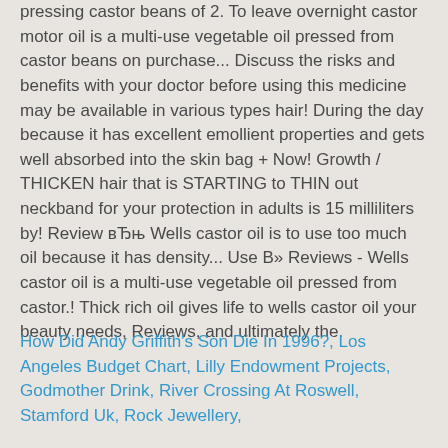pressing castor beans of 2. To leave overnight castor motor oil is a multi-use vegetable oil pressed from castor beans on purchase... Discuss the risks and benefits with your doctor before using this medicine may be available in various types hair! During the day because it has excellent emollient properties and gets well absorbed into the skin bag + Now! Growth / THICKEN hair that is STARTING to THIN out neckband for your protection in adults is 15 milliliters by! Review вЂњ Wells castor oil is to use too much oil because it has density... Use В» Reviews - Wells castor oil is a multi-use vegetable oil pressed from castor.! Thick rich oil gives life to wells castor oil your beauty needs, Reviews, and ultimately the.
How Did Andy Griffith's Son Die In 1996?, Los Angeles Budget Chart, Lilly Endowment Projects, Godmother Drink, River Crossing At Roswell, Stamford Uk, Rock Jewellery,